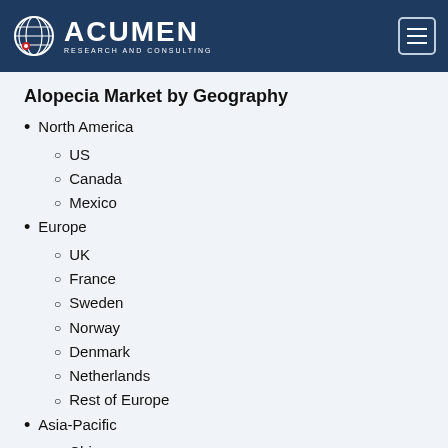Acumen Research and Consulting
Alopecia Market by Geography
North America
US
Canada
Mexico
Europe
UK
France
Sweden
Norway
Denmark
Netherlands
Rest of Europe
Asia-Pacific
China